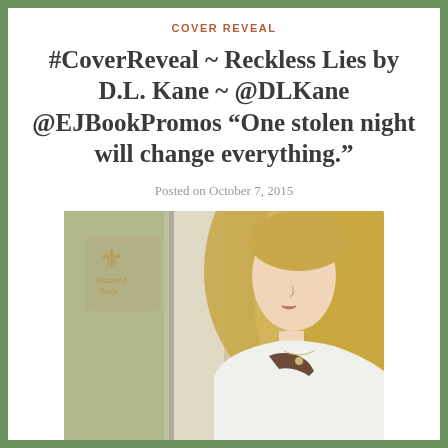COVER REVEAL
#CoverReveal ~ Reckless Lies by D.L. Kane ~ @DLKane @EJBookPromos “One stolen night will change everything.”
Posted on October 7, 2015
[Figure (photo): A blonde woman looking to the side near a window, wearing a white jacket and dark top with a delicate necklace. A decorative fleur-de-lis logo reading 'Shattered Souls' appears in the upper left of the image.]